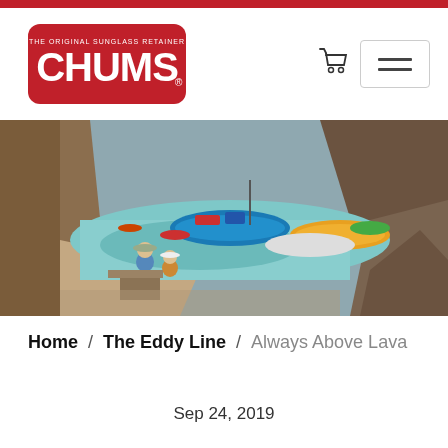[Figure (logo): CHUMS brand logo — white text on red rounded-rectangle background]
[Figure (photo): River rafting scene in a canyon — people on shore with inflatable rafts on turquoise water, rocky canyon walls]
Home / The Eddy Line / Always Above Lava
Sep 24, 2019